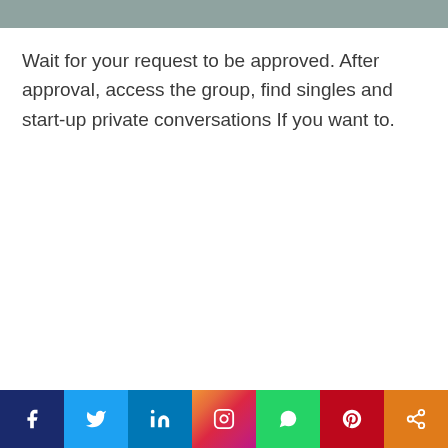[Figure (other): Gray header bar at top of page]
Wait for your request to be approved. After approval, access the group, find singles and start-up private conversations If you want to.
[Figure (other): Social media share bar at bottom with icons: Facebook, Twitter, LinkedIn, Instagram, WhatsApp, Pinterest, Share]